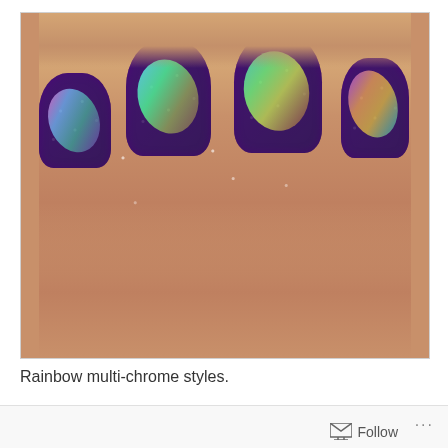[Figure (photo): Close-up photo of a hand with four fingers showing nails painted with dark purple glittery galaxy-style nail polish, decorated with iridescent rainbow multi-chrome swirl designs on each nail.]
Rainbow multi-chrome styles.
Follow ...